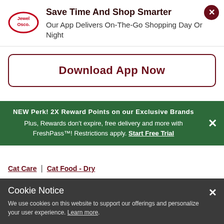[Figure (logo): Jewel-Osco oval logo with red border and red text]
Save Time And Shop Smarter
Our App Delivers On-The-Go Shopping Day Or Night
Download App Now
NEW Perk! 2X Reward Points on our Exclusive Brands
Plus, Rewards don't expire, free delivery and more with FreshPass™! Restrictions apply. Start Free Trial
Cat Care | Cat Food - Dry
Cookie Notice
We use cookies on this website to support our offerings and personalize your user experience. Learn more.